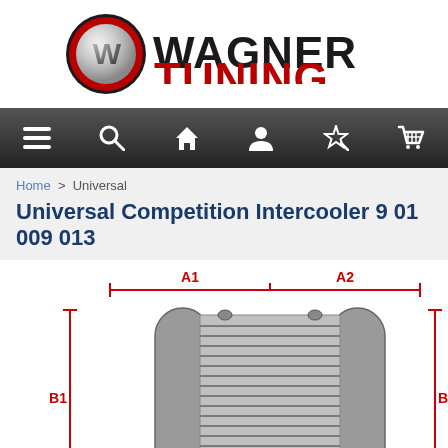[Figure (logo): Wagner Tuning logo — circular red and silver W emblem with black text WAGNER in black and TUNING in red]
[Figure (screenshot): Navigation bar with icons: hamburger menu, search magnifier, home house, user profile, magic wand/wishlist, shopping cart]
Home > Universal
Universal Competition Intercooler 9 01 009 013
[Figure (engineering-diagram): Engineering schematic of intercooler with dimension labels A1, A2, B1, B2 marked in red brackets. The intercooler body is shown in silver/grey with horizontal fins and rounded corners on the tank sides.]